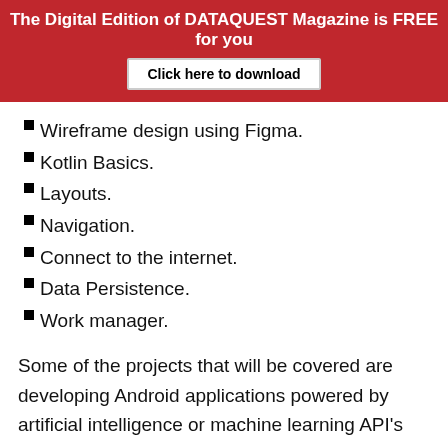The Digital Edition of DATAQUEST Magazine is FREE for you
[Figure (other): Click here to download button on red banner]
Wireframe design using Figma.
Kotlin Basics.
Layouts.
Navigation.
Connect to the internet.
Data Persistence.
Work manager.
Some of the projects that will be covered are developing Android applications powered by artificial intelligence or machine learning API’s such as Vision API’s and Natural Language API’s. Students will be offered over 100 hours of online learning, and the experi×itial learning includes